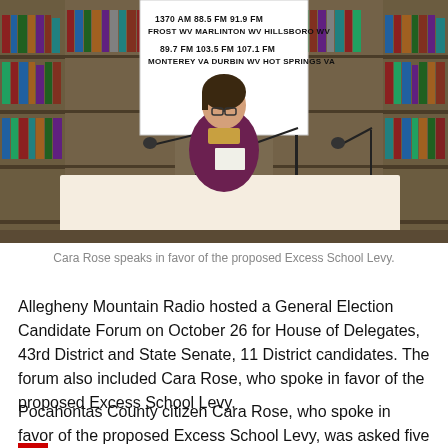[Figure (photo): A woman (Cara Rose) sits at a table with microphones in a library setting, speaking at a forum. A banner in the background shows Allegheny Mountain Radio frequencies: 1370 AM FROST WV, 88.5 FM MARLINTON WV, 91.9 FM HILLSBORO WV, 89.7 FM MONTEREY VA, 103.5 FM DURBIN WV, 107.1 FM HOT SPRINGS VA. Bookshelves are visible behind her.]
Cara Rose speaks in favor of the proposed Excess School Levy.
Allegheny Mountain Radio hosted a General Election Candidate Forum on October 26 for House of Delegates, 43rd District and State Senate, 11 District candidates. The forum also included Cara Rose, who spoke in favor of the proposed Excess School Levy.
Pocahontas County citizen Cara Rose, who spoke in favor of the proposed Excess School Levy, was asked five